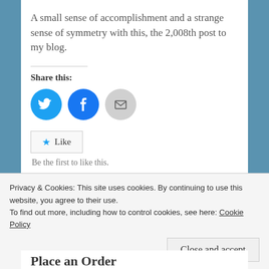A small sense of accomplishment and a strange sense of symmetry with this, the 2,008th post to my blog.
Share this:
[Figure (infographic): Three circular share buttons: Twitter (blue), Facebook (blue), Email (grey)]
[Figure (infographic): Like button widget with star icon]
Be the first to like this.
Privacy & Cookies: This site uses cookies. By continuing to use this website, you agree to their use. To find out more, including how to control cookies, see here: Cookie Policy
Close and accept
Place an Order